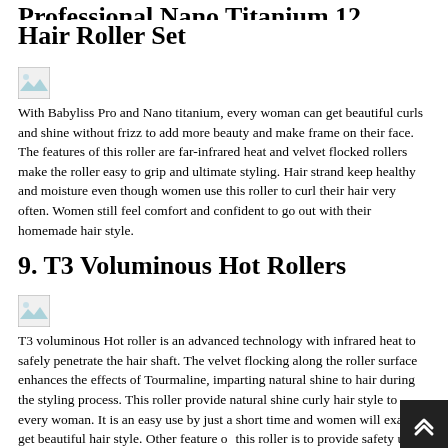Professional Nano Titanium 12 Hair Roller Set
[Figure (photo): Broken/missing image placeholder]
With Babyliss Pro and Nano titanium, every woman can get beautiful curls and shine without frizz to add more beauty and make frame on their face. The features of this roller are far-infrared heat and velvet flocked rollers make the roller easy to grip and ultimate styling. Hair strand keep healthy and moisture even though women use this roller to curl their hair very often. Women still feel comfort and confident to go out with their homemade hair style.
9. T3 Voluminous Hot Rollers
[Figure (photo): Broken/missing image placeholder]
T3 voluminous Hot roller is an advanced technology with infrared heat to safely penetrate the hair shaft. The velvet flocking along the roller surface enhances the effects of Tourmaline, imparting natural shine to hair during the styling process. This roller provide natural shine curly hair style to every woman. It is an easy use by just a short time and women will exactly get beautiful hair style. Other feature of this roller is to provide safety use by not to damage hair